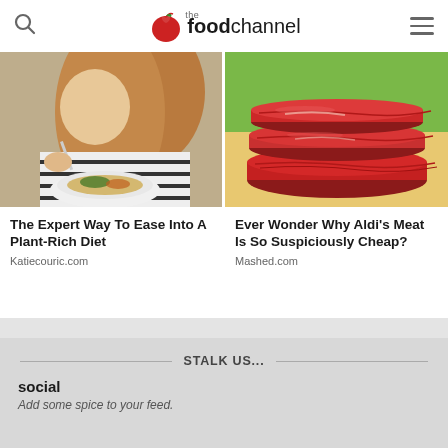the foodchannel
[Figure (photo): Person eating a plant-based pasta dish from a white plate]
[Figure (photo): Stacked raw red meat slices on a wooden surface]
The Expert Way To Ease Into A Plant-Rich Diet
Katiecouric.com
Ever Wonder Why Aldi's Meat Is So Suspiciously Cheap?
Mashed.com
STALK US...
social
Add some spice to your feed.